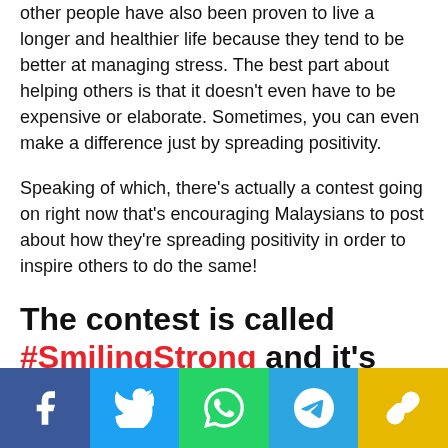other people have also been proven to live a longer and healthier life because they tend to be better at managing stress. The best part about helping others is that it doesn't even have to be expensive or elaborate. Sometimes, you can even make a difference just by spreading positivity.
Speaking of which, there's actually a contest going on right now that's encouraging Malaysians to post about how they're spreading positivity in order to inspire others to do the same!
The contest is called #SmilingStrong and it's being held in conjunction with
[Figure (infographic): Social media share buttons bar: Facebook (blue), Twitter (light blue), WhatsApp (green), Telegram (blue), Link/copy (yellow-gold)]